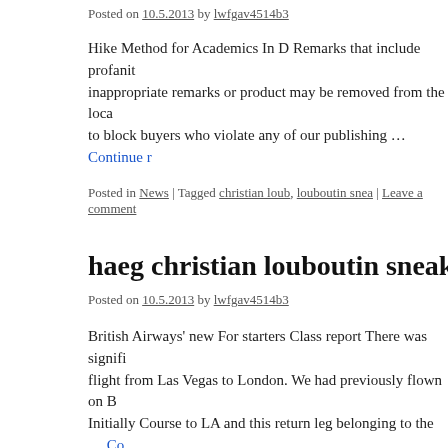Posted on 10.5.2013 by lwfgav4514b3
Hike Method for Academics In D Remarks that include profanity or inappropriate remarks or product may be removed from the loca to block buyers who violate any of our publishing … Continue r
Posted in News | Tagged christian loub, louboutin snea | Leave a comment
haeg christian louboutin sneakers replica
Posted on 10.5.2013 by lwfgav4514b3
British Airways' new For starters Class report There was signifi flight from Las Vegas to London. We had previously flown on B Initially Course to LA and this return leg belonging to the … Co
Posted in News | Tagged christian loub, discount chris | Leave a comment
oacn christian louboutin replica ypha
Posted on 9.5.2013 by lwfgav4514b3